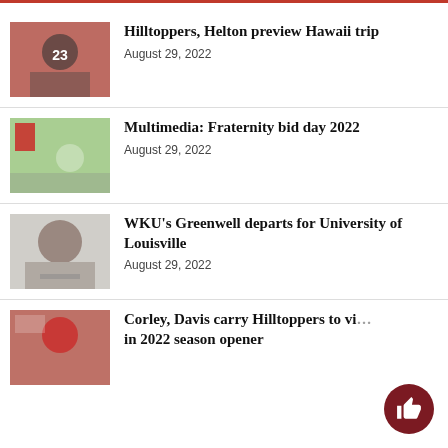Hilltoppers, Helton preview Hawaii trip — August 29, 2022
Multimedia: Fraternity bid day 2022 — August 29, 2022
WKU's Greenwell departs for University of Louisville — August 29, 2022
Corley, Davis carry Hilltoppers to vi... in 2022 season opener